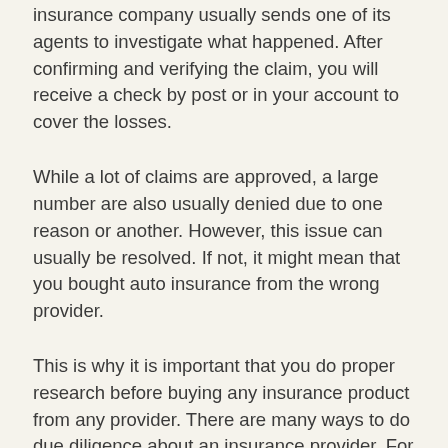insurance company usually sends one of its agents to investigate what happened. After confirming and verifying the claim, you will receive a check by post or in your account to cover the losses.
While a lot of claims are approved, a large number are also usually denied due to one reason or another. However, this issue can usually be resolved. If not, it might mean that you bought auto insurance from the wrong provider.
This is why it is important that you do proper research before buying any insurance product from any provider. There are many ways to do due diligence about an insurance provider. For example, if you are considering